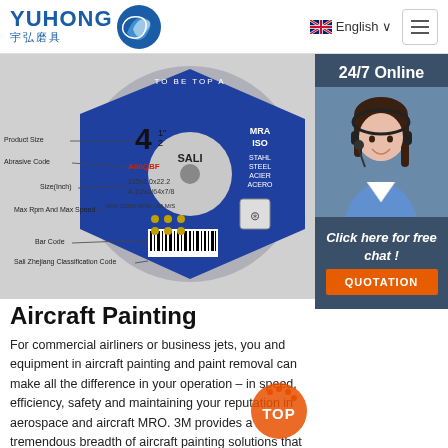YUHONG 宇弘磨具 | English | Menu
[Figure (photo): Abrasive cutting disc product with labels showing Product Size, Abrasive Code, Size(Inch), Max Rpm And Max Speed, Bar Code, Sali Zhejiang Classification Code. Disc is blue and silver with SALI brand and MRA ISO certification marks.]
[Figure (photo): Customer service agent (woman with headset) with 24/7 Online label, Click here for free chat text, and QUOTATION button in sidebar]
Aircraft Painting
For commercial airliners or business jets, you and equipment in aircraft painting and paint removal can make all the difference in your operation – in speed, efficiency, safety and maintaining your reputation in aerospace and aircraft MRO. 3M provides a tremendous breadth of aircraft painting solutions that make for excellent results, and can also save you time and added ...